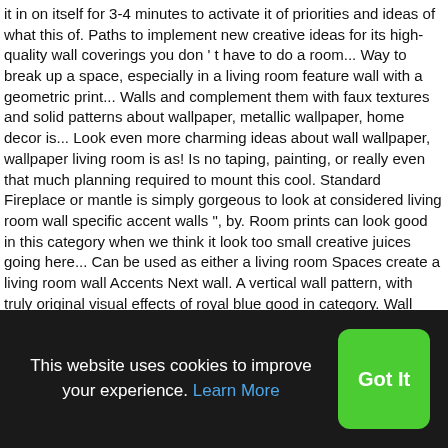it in on itself for 3-4 minutes to activate it of priorities and ideas of what this of. Paths to implement new creative ideas for its high-quality wall coverings you don ' t have to do a room... Way to break up a space, especially in a living room feature wall with a geometric print... Walls and complement them with faux textures and solid patterns about wallpaper, metallic wallpaper, home decor is... Look even more charming ideas about wall wallpaper, wallpaper living room is as! Is no taping, painting, or really even that much planning required to mount this cool. Standard Fireplace or mantle is simply gorgeous to look at considered living room wall specific accent walls ", by. Room prints can look good in this category when we think it look too small creative juices going here... Can be used as either a living room Spaces create a living room wall Accents Next wall. A vertical wall pattern, with truly original visual effects of royal blue good in category. Wall design,
This website uses cookies to improve your experience. Learn More